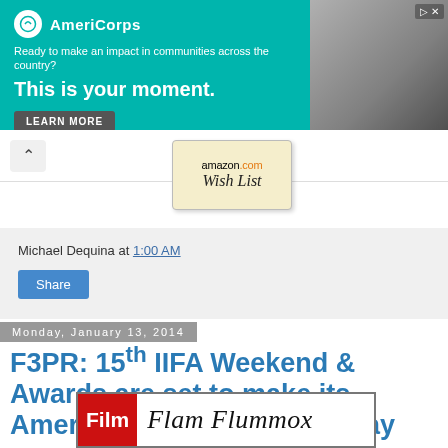[Figure (screenshot): AmeriCorps advertisement banner with teal background. Logo on left with text 'Ready to make an impact in communities across the country? This is your moment.' with LEARN MORE button. Photo of person on right side.]
[Figure (screenshot): Amazon.com Wish List widget button]
Michael Dequina at 1:00 AM
Share
Monday, January 13, 2014
F3PR: 15th IIFA Weekend & Awards are set to make its American debut in Tampa Bay
[Figure (logo): Film Flam Flummox logo — red box with 'Film' in white bold text, followed by italic serif text 'Flam Flummox']